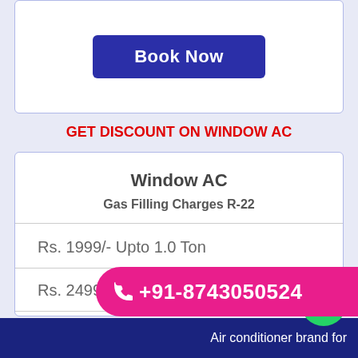Book Now
GET DISCOUNT ON WINDOW AC
Window AC
Gas Filling Charges R-22
Rs. 1999/- Upto 1.0 Ton
Rs. 2499/- For 1.5 Ton
Rs.
+91-8743050524
Air conditioner brand for